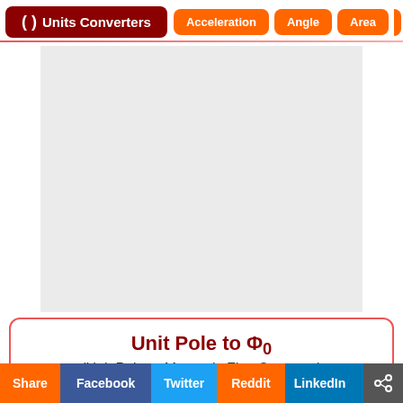() Units Converters | Acceleration | Angle | Area
[Figure (other): Advertisement placeholder, large light grey rectangle]
Unit Pole to Φ₀
(Unit Pole to Magnetic Flux Quantum)
Magnetic Flux
Share | Facebook | Twitter | Reddit | LinkedIn